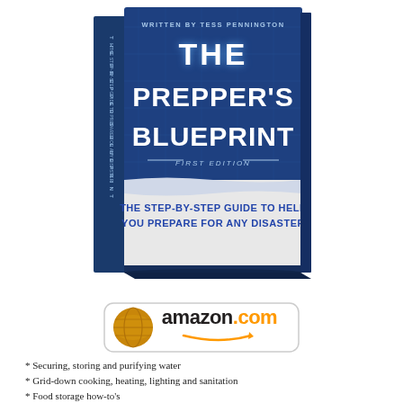[Figure (photo): 3D rendered book cover of 'The Prepper's Blueprint' by Tess Pennington, First Edition, with blue blueprint-style design and tagline 'The Step-by-Step Guide to Help You Prepare for Any Disaster']
[Figure (logo): Amazon.com logo button with golden globe icon]
* Securing, storing and purifying water
* Grid-down cooking, heating, lighting and sanitation
* Food storage how-to's
* Gardening during a long-term crisis
* Critical supplies needed for a disruption of services
* How to prepare for a widespread pandemic
* Setting up emergency 72-hour kits
* Hardening the home to safely shelter in place
* Bartering skill-sets and goods
* Bugging out & relocation